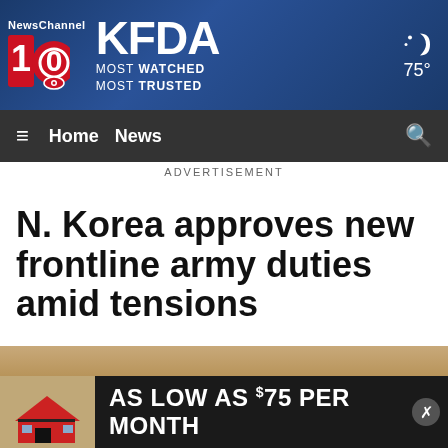[Figure (logo): NewsChannel 10 KFDA logo with 'MOST WATCHED MOST TRUSTED' tagline and weather showing 75 degrees]
≡  Home  News                                         🔍
ADVERTISEMENT
N. Korea approves new frontline army duties amid tensions
[Figure (photo): Partial photo visible at bottom, with advertisement banner: AS LOW AS $75 PER MONTH]
AS LOW AS $75 PER MONTH